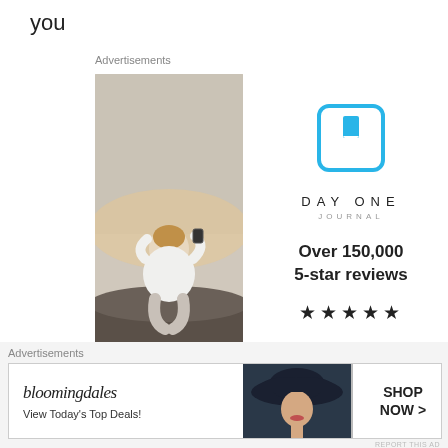you
Advertisements
[Figure (photo): Day One Journal advertisement with photo of man sitting on rocks taking a photo, alongside Day One Journal logo, 'Over 150,000 5-star reviews', five stars, and 'Get the app' button]
REPORT THIS AD
Share this:
Advertisements
[Figure (photo): Bloomingdales banner advertisement showing logo, 'View Today's Top Deals!', a model wearing a hat, and 'SHOP NOW >' button]